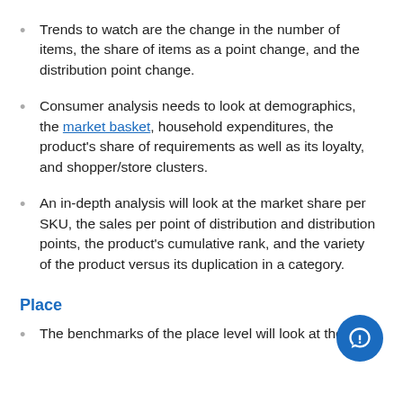Trends to watch are the change in the number of items, the share of items as a point change, and the distribution point change.
Consumer analysis needs to look at demographics, the market basket, household expenditures, the product's share of requirements as well as its loyalty, and shopper/store clusters.
An in-depth analysis will look at the market share per SKU, the sales per point of distribution and distribution points, the product's cumulative rank, and the variety of the product versus its duplication in a category.
Place
The benchmarks of the place level will look at the